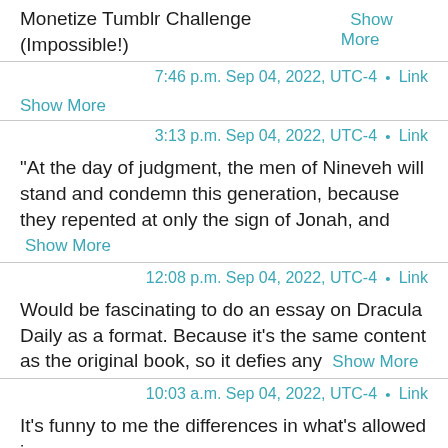Monetize Tumblr Challenge (Impossible!)  Show More
7:46 p.m. Sep 04, 2022, UTC-4 • Link
Show More
3:13 p.m. Sep 04, 2022, UTC-4 • Link
"At the day of judgment, the men of Nineveh will stand and condemn this generation, because they repented at only the sign of Jonah, and  Show More
12:08 p.m. Sep 04, 2022, UTC-4 • Link
Would be fascinating to do an essay on Dracula Daily as a format. Because it's the same content as the original book, so it defies any  Show More
10:03 a.m. Sep 04, 2022, UTC-4 • Link
It's funny to me the differences in what's allowed in different...